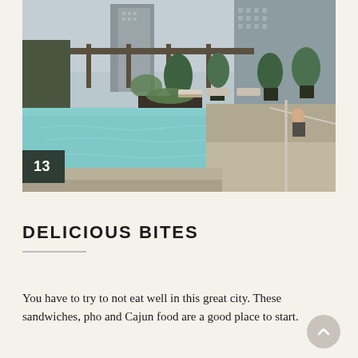[Figure (photo): Rooftop pool area with lounge chairs and greenery, city skyscrapers in background. Number badge '13' in bottom left corner.]
DELICIOUS BITES
You have to try to not eat well in this great city. These sandwiches, pho and Cajun food are a good place to start.